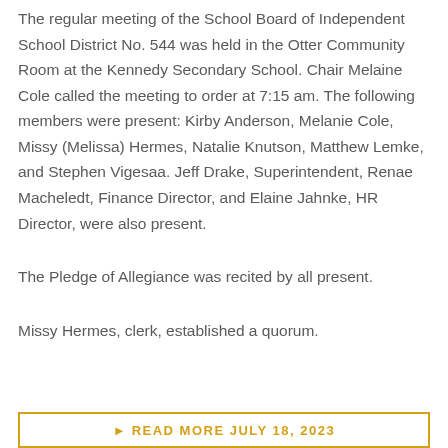The regular meeting of the School Board of Independent School District No. 544 was held in the Otter Community Room at the Kennedy Secondary School. Chair Melaine Cole called the meeting to order at 7:15 am. The following members were present: Kirby Anderson, Melanie Cole, Missy (Melissa) Hermes, Natalie Knutson, Matthew Lemke, and Stephen Vigesaa. Jeff Drake, Superintendent, Renae Macheledt, Finance Director, and Elaine Jahnke, HR Director, were also present.
The Pledge of Allegiance was recited by all present.
Missy Hermes, clerk, established a quorum.
READ MORE JULY 18, 2023